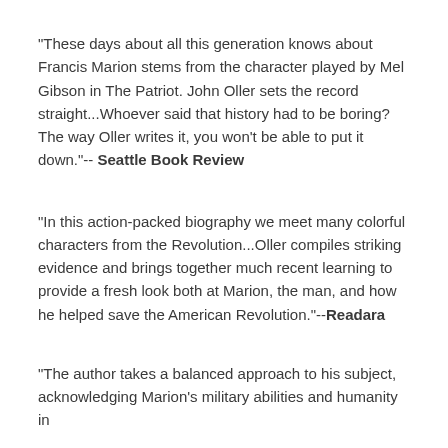"These days about all this generation knows about Francis Marion stems from the character played by Mel Gibson in The Patriot. John Oller sets the record straight...Whoever said that history had to be boring? The way Oller writes it, you won't be able to put it down."-- Seattle Book Review
"In this action-packed biography we meet many colorful characters from the Revolution...Oller compiles striking evidence and brings together much recent learning to provide a fresh look both at Marion, the man, and how he helped save the American Revolution."--Readara
"The author takes a balanced approach to his subject, acknowledging Marion's military abilities and humanity in